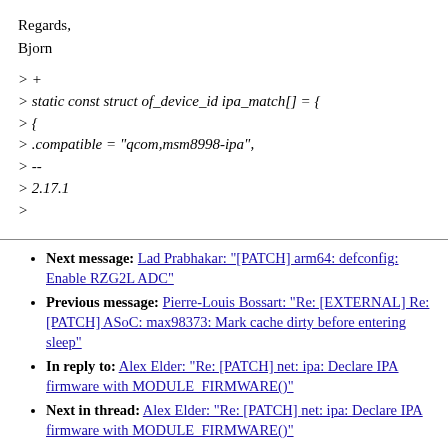Regards,
Bjorn
> +
> static const struct of_device_id ipa_match[] = {
> {
> .compatible = "qcom,msm8998-ipa",
> --
> 2.17.1
>
Next message: Lad Prabhakar: "[PATCH] arm64: defconfig: Enable RZG2L ADC"
Previous message: Pierre-Louis Bossart: "Re: [EXTERNAL] Re: [PATCH] ASoC: max98373: Mark cache dirty before entering sleep"
In reply to: Alex Elder: "Re: [PATCH] net: ipa: Declare IPA firmware with MODULE_FIRMWARE()"
Next in thread: Alex Elder: "Re: [PATCH] net: ipa: Declare IPA firmware with MODULE_FIRMWARE()"
Messages sorted by: [ date ] [ thread ] [ subject ] [ author ]